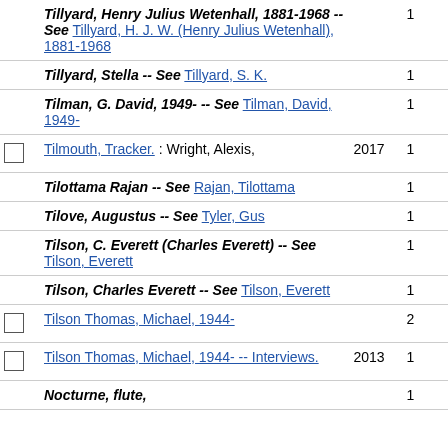|  | Entry | Year | Count |
| --- | --- | --- | --- |
|  | Tillyard, Henry Julius Wetenhall, 1881-1968 -- See Tillyard, H. J. W. (Henry Julius Wetenhall), 1881-1968 |  | 1 |
|  | Tillyard, Stella -- See Tillyard, S. K. |  | 1 |
|  | Tilman, G. David, 1949- -- See Tilman, David, 1949- |  | 1 |
| ☐ | Tilmouth, Tracker. : Wright, Alexis, | 2017 | 1 |
|  | Tilottama Rajan -- See Rajan, Tilottama |  | 1 |
|  | Tilove, Augustus -- See Tyler, Gus |  | 1 |
|  | Tilson, C. Everett (Charles Everett) -- See Tilson, Everett |  | 1 |
|  | Tilson, Charles Everett -- See Tilson, Everett |  | 1 |
| ☐ | Tilson Thomas, Michael, 1944- |  | 2 |
| ☐ | Tilson Thomas, Michael, 1944- -- Interviews. | 2013 | 1 |
|  | Nocturne, flute, |  | 1 |